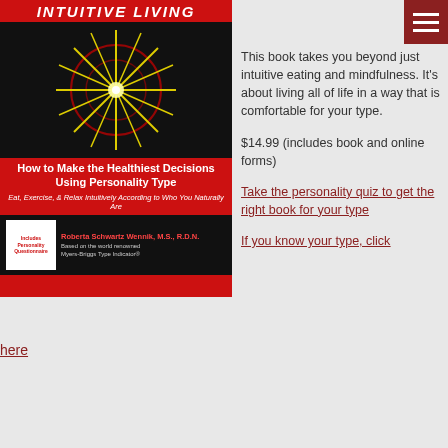[Figure (illustration): Book cover for 'Intuitive Living: How to Make the Healthiest Decisions Using Personality Type' by Roberta Schwartz Wennik, M.S., R.D.N. Red and black cover with starburst graphic. Subtitle: Eat, Exercise, & Relax Intuitively According to Who You Naturally Are. Includes Personality Questionnaire badge.]
This book takes you beyond just intuitive eating and mindfulness.  It's about living all of life in a way that is comfortable for your type.
$14.99 (includes book and online forms)
Take the personality quiz to get the right book for your type
If you know your type, click here